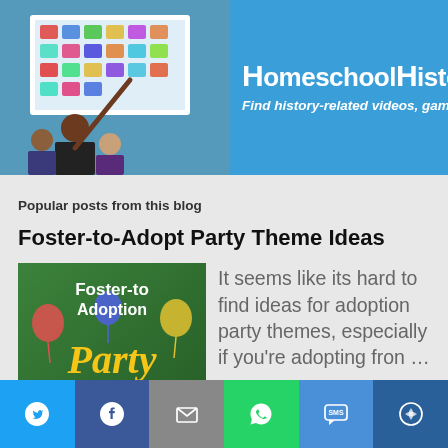[Figure (screenshot): HomeschoolHistory.com banner ad with photo of students at a screen, blue background, yellow Free Trial badge. Text: HOMESCHOOLHISTORY.COM - Find history-related videos, games, and more!]
Popular posts from this blog
Foster-to-Adopt Party Theme Ideas
[Figure (illustration): Book cover thumbnail: Foster-to Adoption Party Themes with green background and yellow party text]
It seems like its hard to find ideas for adoption party themes, especially if you're adopting fron …
READ MORE
Homeschooling with Laura Ingall's Wilder
[Figure (infographic): Bottom share bar with Twitter, Facebook, Email, WhatsApp, SMS, and More buttons]